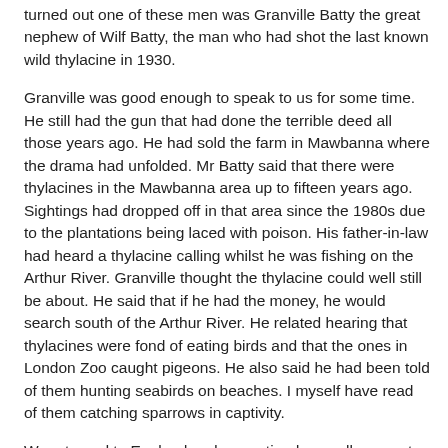turned out one of these men was Granville Batty the great nephew of Wilf Batty, the man who had shot the last known wild thylacine in 1930.
Granville was good enough to speak to us for some time. He still had the gun that had done the terrible deed all those years ago. He had sold the farm in Mawbanna where the drama had unfolded. Mr Batty said that there were thylacines in the Mawbanna area up to fifteen years ago. Sightings had dropped off in that area since the 1980s due to the plantations being laced with poison. His father-in-law had heard a thylacine calling whilst he was fishing on the Arthur River. Granville thought the thylacine could well still be about. He said that if he had the money, he would search south of the Arthur River. He related hearing that thylacines were fond of eating birds and that the ones in London Zoo caught pigeons. He also said he had been told of them hunting seabirds on beaches. I myself have read of them catching sparrows in captivity.
We returned to England and our antipodean colleagues to the mainland. The samples were sent off to Copenhagen University to